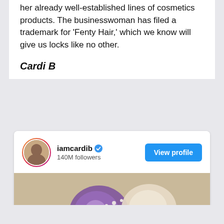her already well-established lines of cosmetics products. The businesswoman has filed a trademark for 'Fenty Hair,' which we know will give us locks like no other.
Cardi B
[Figure (screenshot): Instagram profile card for iamcardib with 140M followers, a View profile button, and a photo of an elaborate floral and bejeweled headpiece on a beige background.]